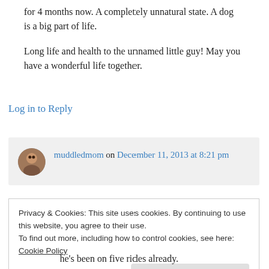for 4 months now. A completely unnatural state. A dog is a big part of life.
Long life and health to the unnamed little guy! May you have a wonderful life together.
Log in to Reply
muddledmom on December 11, 2013 at 8:21 pm
Privacy & Cookies: This site uses cookies. By continuing to use this website, you agree to their use.
To find out more, including how to control cookies, see here: Cookie Policy
Close and accept
he's been on five rides already.